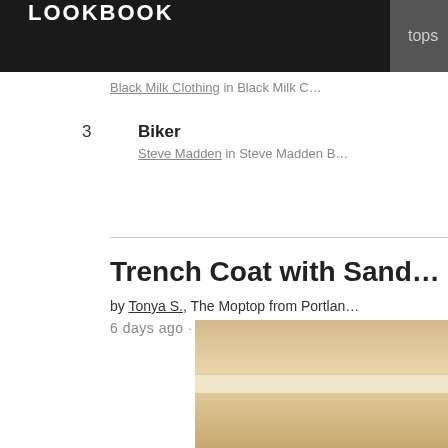LOOKBOOK  tops
Black Milk Clothing in Black Milk C…
3  Biker
Steve Madden in Steve Madden B…
Trench Coat with Sand…
by Tonya S., The Moptop from Portlan…
6 days ago · 1 comments
[Figure (photo): Partial view of a trench coat, beige/tan color, cropped image on the right side of the page]